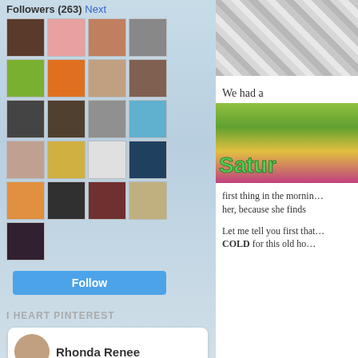Followers (263) Next
[Figure (screenshot): Grid of follower avatar thumbnails, 5 columns × 5 rows plus 1 extra]
[Figure (screenshot): Blue Follow button]
I HEART PINTEREST
[Figure (screenshot): Pinterest card showing Rhonda Renee profile with 3 food pin images]
[Figure (photo): Plaid fabric close-up, grey and white pattern]
We had a
[Figure (photo): Saturday blog link-up image with green text 'Satur' over flowers]
first thing in the morning... her, because she finds
Let me tell you first that... COLD for this old ho...